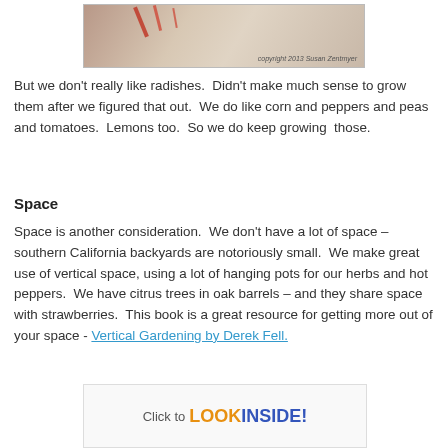[Figure (photo): Partial photo of plants/radishes with copyright notice 'copyright 2013 Susan Zentmyer']
But we don't really like radishes.  Didn't make much sense to grow them after we figured that out.  We do like corn and peppers and peas and tomatoes.  Lemons too.  So we do keep growing  those.
Space
Space is another consideration.  We don't have a lot of space – southern California backyards are notoriously small.  We make great use of vertical space, using a lot of hanging pots for our herbs and hot peppers.  We have citrus trees in oak barrels – and they share space with strawberries.  This book is a great resource for getting more out of your space - Vertical Gardening by Derek Fell.
[Figure (screenshot): Book banner showing 'Click to LOOK INSIDE!' in orange and blue bold text]